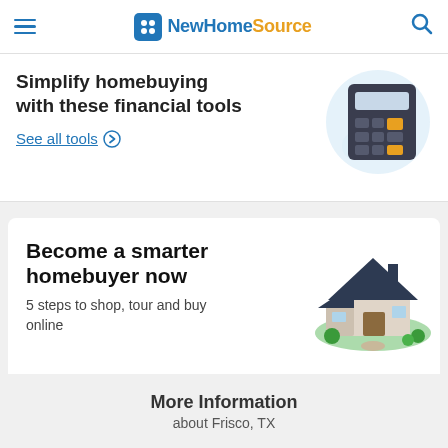NewHomeSource
Simplify homebuying with these financial tools
See all tools
[Figure (illustration): Isometric calculator illustration with orange and dark keys on a light blue circular background]
Become a smarter homebuyer now
5 steps to shop, tour and buy online
[Figure (illustration): Isometric illustration of a house with dark roof, green lawn, and landscaping]
Get Started Now
More Information
about Frisco, TX